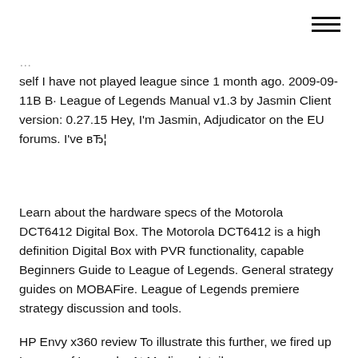self I have not played league since 1 month ago. 2009-09-11В В· League of Legends Manual v1.3 by Jasmin Client version: 0.27.15 Hey, I'm Jasmin, Adjudicator on the EU forums. I've вЂ¦
Learn about the hardware specs of the Motorola DCT6412 Digital Box. The Motorola DCT6412 is a high definition Digital Box with PVR functionality, capable Beginners Guide to League of Legends. General strategy guides on MOBAFire. League of Legends premiere strategy discussion and tools.
HP Envy x360 review To illustrate this further, we fired up League of Legends. At Medium detail